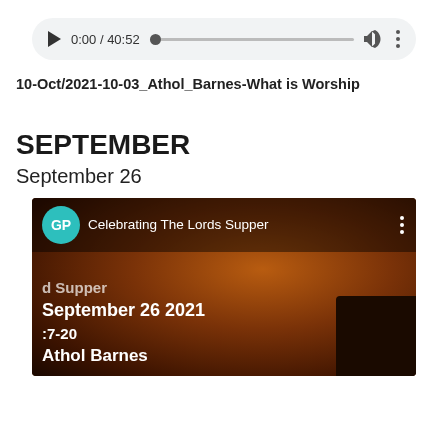[Figure (screenshot): Audio player with play button, time display 0:00 / 40:52, progress bar, volume icon, and more options icon on a light grey pill-shaped background]
10-Oct/2021-10-03_Athol_Barnes-What is Worship
SEPTEMBER
September 26
[Figure (screenshot): Video thumbnail card showing GP badge (teal circle), title 'Celebrating The Lords Supper', dark reddish-brown background, text overlay: 'd Supper / September 26 2021 / :7-20 / Athol Barnes', dark figure silhouette bottom right]